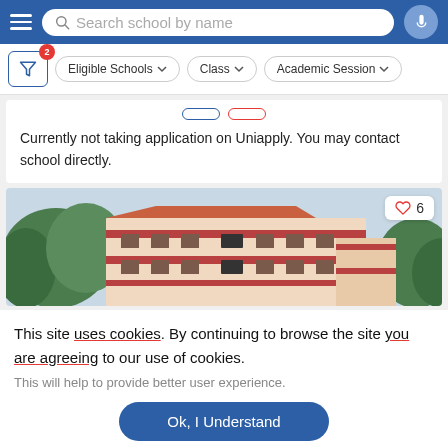Search school by name
Eligible Schools | Class | Academic Session
Currently not taking application on Uniapply. You may contact school directly.
[Figure (photo): Photo of a multi-story school building with red and beige exterior, surrounded by trees, with a heart/like badge showing 6 likes in the top-right corner.]
This site uses cookies. By continuing to browse the site you are agreeing to our use of cookies.
This will help to provide better user experience.